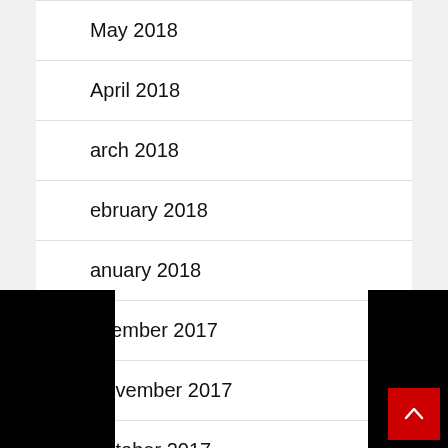May 2018
April 2018
March 2018
February 2018
January 2018
December 2017
November 2017
October 2017